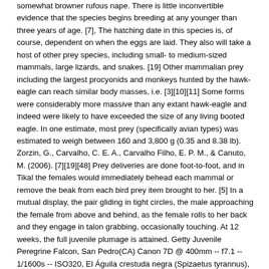somewhat browner rufous nape. There is little inconvertible evidence that the species begins breeding at any younger than three years of age. [7], The hatching date in this species is, of course, dependent on when the eggs are laid. They also will take a host of other prey species, including small- to medium-sized mammals, large lizards, and snakes. [19] Other mammalian prey including the largest procyonids and monkeys hunted by the hawk-eagle can reach similar body masses, i.e. [3][10][11] Some forms were considerably more massive than any extant hawk-eagle and indeed were likely to have exceeded the size of any living booted eagle. In one estimate, most prey (specifically avian types) was estimated to weigh between 160 and 3,800 g (0.35 and 8.38 lb). Zorzin, G., Carvalho, C. E. A., Carvalho Filho, E. P. M., & Canuto, M. (2006). [7][19][48] Prey deliveries are done foot-to-foot, and in Tikal the females would immediately behead each mammal or remove the beak from each bird prey item brought to her. [5] In a mutual display, the pair gliding in tight circles, the male approaching the female from above and behind, as the female rolls to her back and they engage in talon grabbing, occasionally touching. At 12 weeks, the full juvenile plumage is attained. Getty Juvenile Peregrine Falcon, San Pedro(CA) Canon 7D @ 400mm -- f7.1 -- 1/1600s -- ISO320, El Águila crestuda negra (Spizaetus tyrannus), también conocida como el águila tirana, es una especie de ave Accipitriforme de la familia Accipitridae. They catch prey up to the size of monkey and sloth. [6][19] As in most accipitrids, males usually capture prey and bring it to the